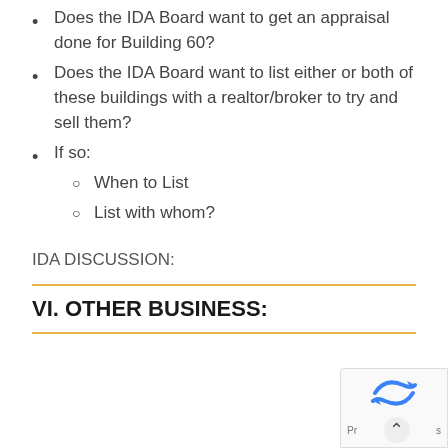Does the IDA Board want to get an appraisal done for Building 60?
Does the IDA Board want to list either or both of these buildings with a realtor/broker to try and sell them?
If so:
When to List
List with whom?
IDA DISCUSSION:
VI. OTHER BUSINESS: